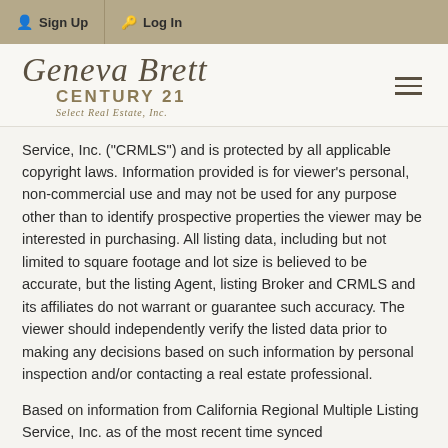Sign Up   Log In
[Figure (logo): Geneva Brett Century 21 Select Real Estate, Inc. logo with script lettering and hamburger menu icon]
Service, Inc. ("CRMLS") and is protected by all applicable copyright laws. Information provided is for viewer's personal, non-commercial use and may not be used for any purpose other than to identify prospective properties the viewer may be interested in purchasing. All listing data, including but not limited to square footage and lot size is believed to be accurate, but the listing Agent, listing Broker and CRMLS and its affiliates do not warrant or guarantee such accuracy. The viewer should independently verify the listed data prior to making any decisions based on such information by personal inspection and/or contacting a real estate professional.
Based on information from California Regional Multiple Listing Service, Inc. as of the most recent time synced